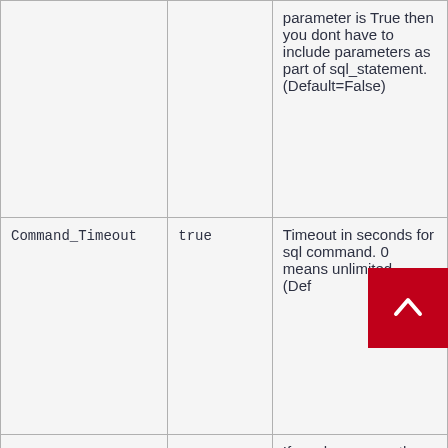|  |  | parameter is True then you dont have to include parameters as part of sql_statement. (Default=False) |
| Command_Timeout | true | Timeout in seconds for sql command. 0 means unlimited. (Default=... |
|  |  | If you have more than one column in output ... |